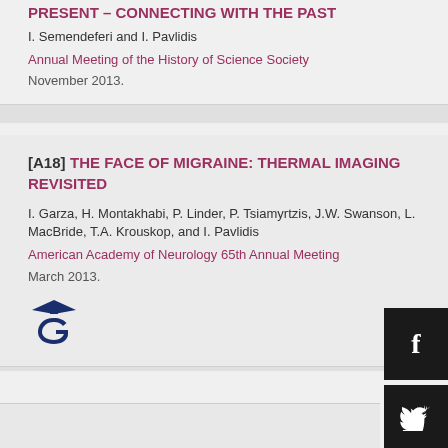PRESENT – CONNECTING WITH THE PAST
I. Semendeferi and I. Pavlidis
Annual Meeting of the History of Science Society
November 2013.
[A18] THE FACE OF MIGRAINE: THERMAL IMAGING REVISITED
I. Garza, H. Montakhabi, P. Linder, P. Tsiamyrtzis, J.W. Swanson, L. MacBride, T.A. Krouskop, and I. Pavlidis
American Academy of Neurology 65th Annual Meeting
March 2013.
[Figure (logo): Georgetown University logo — stylized G with graduation cap]